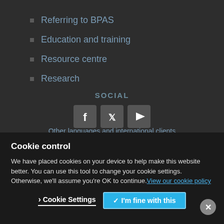Referring to BPAS
Education and training
Resource centre
Research
SOCIAL
[Figure (other): Social media icons: Facebook, Twitter, YouTube]
Other languages and international clients
Cookie control
We have placed cookies on your device to help make this website better. You can use this tool to change your cookie settings. Otherwise, we'll assume you're OK to continue. View our cookie policy
Cookie Settings
I'm fine with this